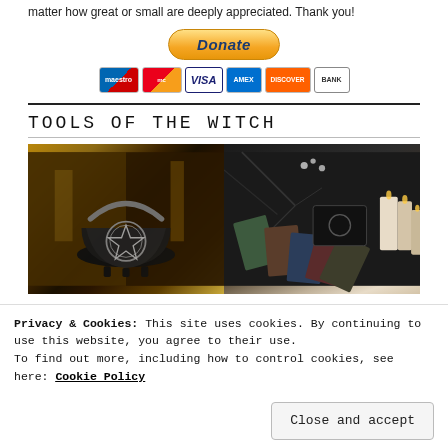matter how great or small are deeply appreciated. Thank you!
[Figure (other): PayPal Donate button with payment icons (Maestro, MasterCard, Visa, Amex, Discover, Bank)]
TOOLS OF THE WITCH
[Figure (photo): Two side-by-side photos: left shows a black cast iron cauldron with pentagram, right shows tarot cards with candles and branches]
Privacy & Cookies: This site uses cookies. By continuing to use this website, you agree to their use.
To find out more, including how to control cookies, see here: Cookie Policy
Close and accept